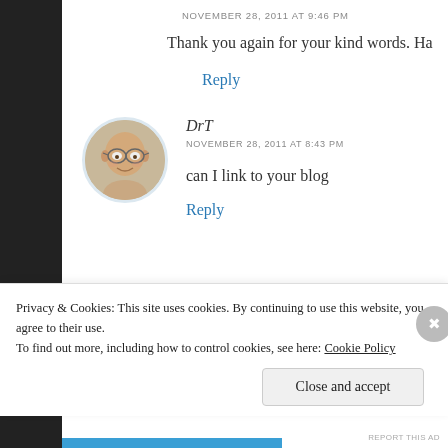NOVEMBER 28, 2011 AT 9:46 PM
Thank you again for your kind words. Ha
Reply
DrT
NOVEMBER 28, 2011 AT 8:43 PM
can I link to your blog
Reply
Privacy & Cookies: This site uses cookies. By continuing to use this website, you agree to their use.
To find out more, including how to control cookies, see here: Cookie Policy
Close and accept